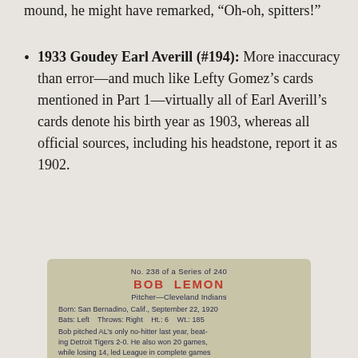mound, he might have remarked, "Oh-oh, spitters!"
1933 Goudey Earl Averill (#194): More inaccuracy than error—and much like Lefty Gomez's cards mentioned in Part 1—virtually all of Earl Averill's cards denote his birth year as 1903, whereas all official sources, including his headstone, report it as 1902.
[Figure (photo): Back of a 1948 Bowman baseball card No. 238 of a Series of 240, featuring Bob Lemon, Pitcher for the Cleveland Indians. Text reads: Born: San Bernadino, Calif., September 22, 1920. Bats: Left  Throws: Right  Ht.: 6  Wt.: 185. Bob pitched AL's only no-hitter last year, beating Detroit Tigers 2-0. He also won 20 games, while losing 14, led League in complete games.]